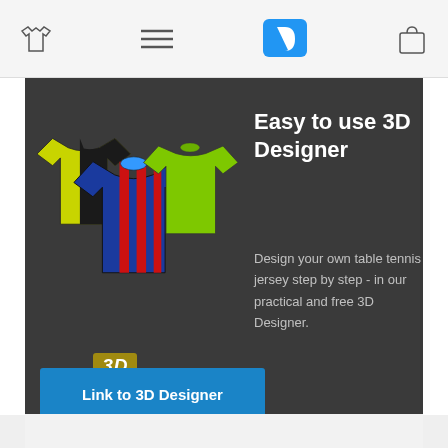Navigation bar with shirt icon, menu icon, logo, and cart icon
[Figure (illustration): Three table tennis jerseys displayed: yellow/black, blue/red striped, and green. A '3D DSGN' badge below them.]
Easy to use 3D Designer
Design your own table tennis jersey step by step - in our practical and free 3D Designer.
Link to 3D Designer